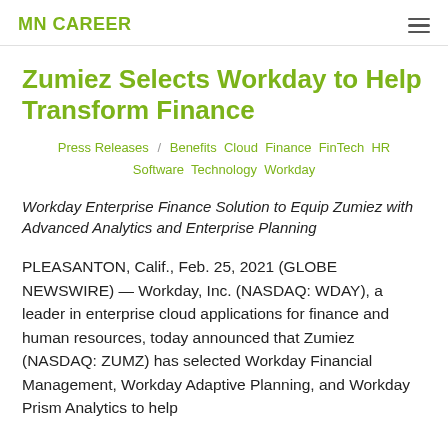MN CAREER
Zumiez Selects Workday to Help Transform Finance
Press Releases / Benefits Cloud Finance FinTech HR Software Technology Workday
Workday Enterprise Finance Solution to Equip Zumiez with Advanced Analytics and Enterprise Planning
PLEASANTON, Calif., Feb. 25, 2021 (GLOBE NEWSWIRE) — Workday, Inc. (NASDAQ: WDAY), a leader in enterprise cloud applications for finance and human resources, today announced that Zumiez (NASDAQ: ZUMZ) has selected Workday Financial Management, Workday Adaptive Planning, and Workday Prism Analytics to help